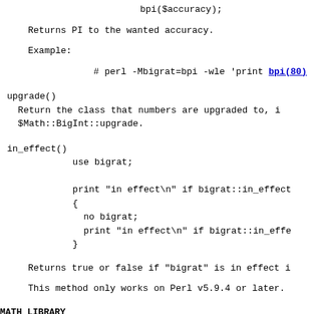bpi($accuracy);
Returns PI to the wanted accuracy.
Example:
# perl -Mbigrat=bpi -wle 'print bpi(80)
upgrade()
  Return the class that numbers are upgraded to, i
  $Math::BigInt::upgrade.
in_effect()
          use bigrat;

          print "in effect\n" if bigrat::in_effect
          {
            no bigrat;
            print "in effect\n" if bigrat::in_effe
          }
Returns true or false if "bigrat" is in effect i
This method only works on Perl v5.9.4 or later.
MATH LIBRARY
Math with the numbers is done (by default) by a mo
Caveat
But a warning is in order. When using the followin